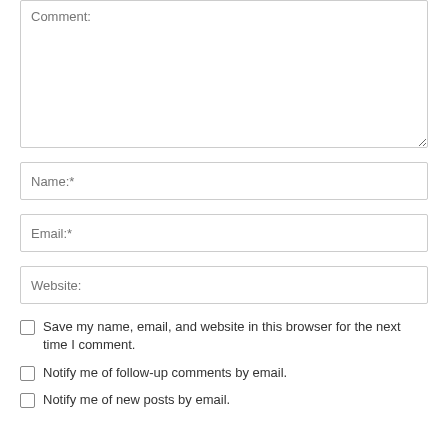[Figure (screenshot): Comment text area input field with placeholder text 'Comment:']
[Figure (screenshot): Name input field with placeholder text 'Name:*']
[Figure (screenshot): Email input field with placeholder text 'Email:*']
[Figure (screenshot): Website input field with placeholder text 'Website:']
Save my name, email, and website in this browser for the next time I comment.
Notify me of follow-up comments by email.
Notify me of new posts by email.